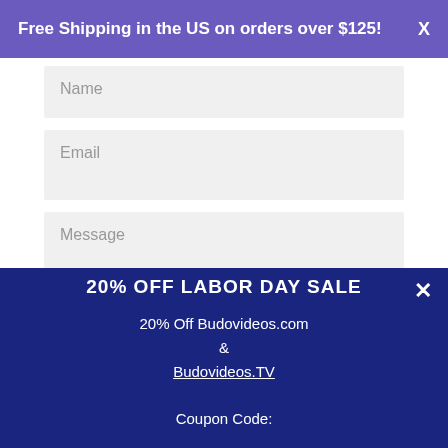Free Shipping in the US on orders over $125! X
Name
Email
Message
20% OFF LABOR DAY SALE
20% Off Budovideos.com & Budovideos.TV
Coupon Code: